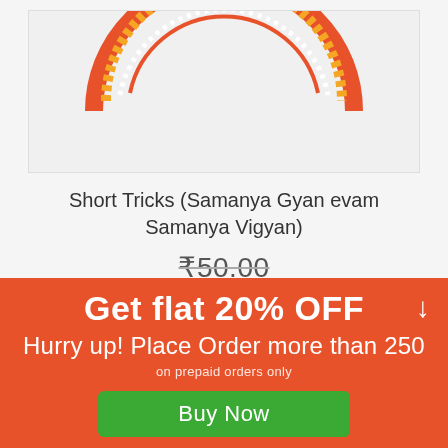[Figure (illustration): Product image showing top portion of a decorative circular badge/seal in orange and yellow colors on a light gray background]
Short Tricks (Samanya Gyan evam Samanya Vigyan)
₹50.00
Get flat 20% OFF
Hurry up! Place Order more than 250
on prepaid orders only
Buy Now